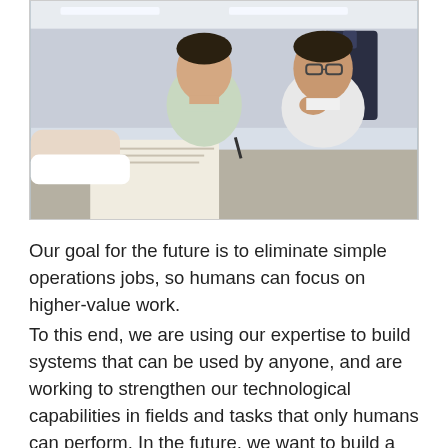[Figure (photo): Two men in an office setting appearing to review documents together. One wears a light green shirt, the other a white shirt and glasses. Fluorescent lighting overhead.]
Our goal for the future is to eliminate simple operations jobs, so humans can focus on higher-value work. To this end, we are using our expertise to build systems that can be used by anyone, and are working to strengthen our technological capabilities in fields and tasks that only humans can perform. In the future, we want to build a SaaS product based on our operations know-how, and distribute it outside of Japan.
Due to the nature of our industry, we believe that the...